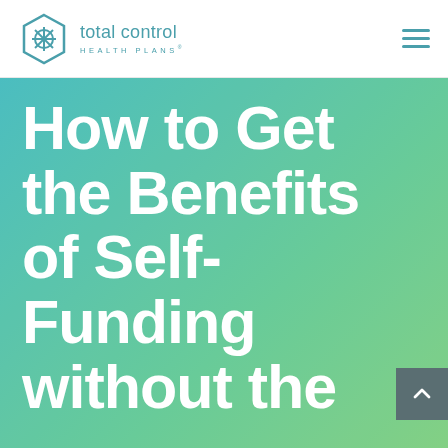total control HEALTH PLANS
How to Get the Benefits of Self-Funding without the